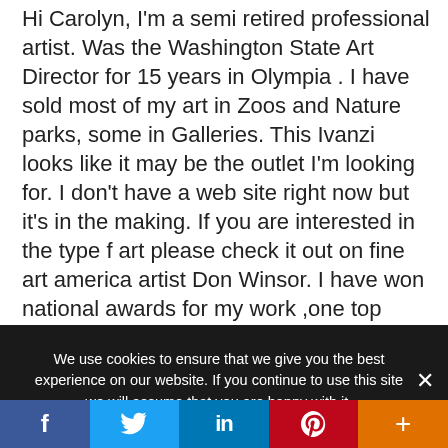Hi Carolyn, I'm a semi retired professional artist. Was the Washington State Art Director for 15 years in Olympia . I have sold most of my art in Zoos and Nature parks, some in Galleries. This Ivanzi looks like it may be the outlet I'm looking for. I don't have a web site right now but it's in the making. If you are interested in the type f art please check it out on fine art america artist Don Winsor. I have won national awards for my work ,one top award was from the U. S. Dept. of Fish and Wildlife for a full size king Salmon painting in a nationwide contest. I have many wildlife scratch board etchings done on Clayboard with a dental pick. I have several large
We use cookies to ensure that we give you the best experience on our website. If you continue to use this site we will assume that you are happy with it.
[Figure (other): Social media share buttons: Facebook (blue), Twitter (light blue), LinkedIn (dark blue), Pinterest (red), More/plus (orange)]